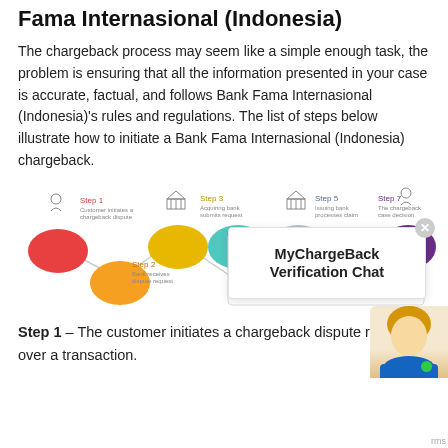Fama Internasional (Indonesia)
The chargeback process may seem like a simple enough task, the problem is ensuring that all the information presented in your case is accurate, factual, and follows Bank Fama Internasional (Indonesia)'s rules and regulations. The list of steps below illustrate how to initiate a Bank Fama Internasional (Indonesia) chargeback.
[Figure (infographic): A step-by-step flowchart diagram showing 7 steps in a chargeback process with colored blob shapes (red, orange, yellow, teal, gray, purple) connected by lines, with icons of people and bank buildings above each step. A MyChargeBack Verification Chat popup overlay is shown in the center-right area.]
Step 1 – The customer initiates a chargeback dispute request over a transaction.